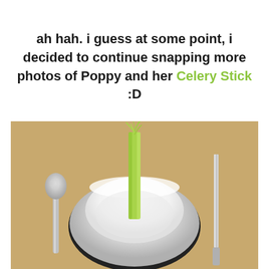ah hah. i guess at some point, i decided to continue snapping more photos of Poppy and her Celery Stick :D
[Figure (photo): A celery stick standing upright in a white ceramic bowl placed inside a silver metal pet bowl, with a spoon on the left and a knife on the right, set on a cork/wooden surface.]